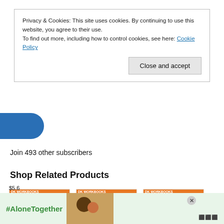Privacy & Cookies: This site uses cookies. By continuing to use this website, you agree to their use.
To find out more, including how to control cookies, see here: Cookie Policy
Close and accept
Join 493 other subscribers
Shop Related Products
[Figure (photo): Book cover: DK Workbooks: Computer Coding]
DK Workbooks: Computer Coding:
[Figure (photo): Book cover: DK Workbooks: Coding in Scratch: Games Workbook]
DK Workbooks: Coding in Scratch: Game...
[Figure (photo): Book cover: DK Workbooks: Coding with Scratch Workbook]
DK Workbooks: Coding with Scratch Work...
[Figure (infographic): #AloneTogether advertisement banner with photo of father and child]
$5.6...